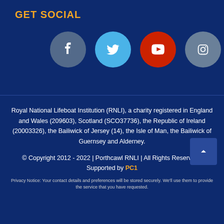GET SOCIAL
[Figure (infographic): Four social media icon circles: Facebook (dark blue-grey), Twitter (light blue), YouTube (red), Instagram (grey-blue)]
Royal National Lifeboat Institution (RNLI), a charity registered in England and Wales (209603), Scotland (SCO37736), the Republic of Ireland (20003326), the Bailiwick of Jersey (14), the Isle of Man, the Bailiwick of Guernsey and Alderney.
© Copyright 2012 - 2022 | Porthcawl RNLI | All Rights Reserved | Supported by PC1
Privacy Notice: Your contact details and preferences will be stored securely. We'll use them to provide the service that you have requested.